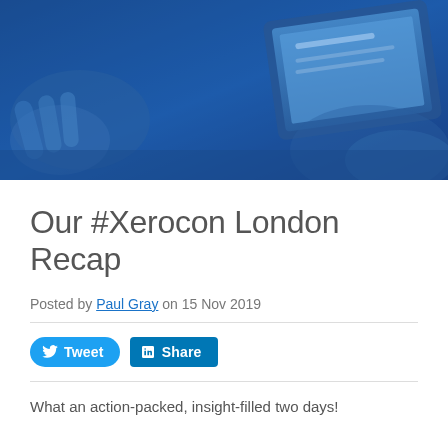[Figure (photo): Blue-tinted hero photo of hands using a laptop or tablet device]
Our #Xerocon London Recap
Posted by Paul Gray on 15 Nov 2019
What an action-packed, insight-filled two days!